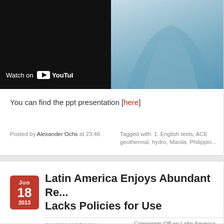[Figure (screenshot): YouTube video embed thumbnail showing dark background with 'Watch on YouTube' label; beside it a blue-toned photo of a person in blue attire]
You can find the ppt presentation [here]
Posted by Alexander Ochs at 23:46
Tagged with: 1. English texts, ACE geothermal, hydro, Manila, Philippine
Latin America Enjoys Abundant Re... Lacks Policies for Use
newspaper interview
Comments Off on Latin America Enjoys A...
South and Central America could generate 100 percent of their electr... finds.